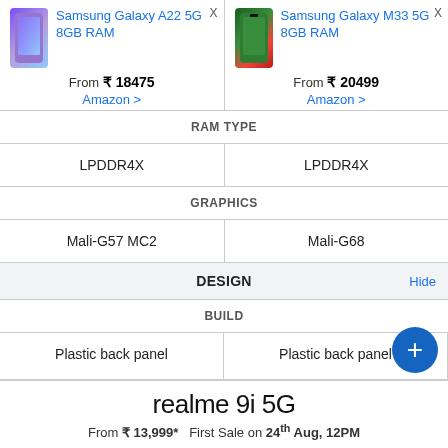| Samsung Galaxy A22 5G 8GB RAM | Samsung Galaxy M33 5G 8GB RAM |
| --- | --- |
| From ₹ 18475
Amazon > | From ₹ 20499
Amazon > |
| RAM TYPE | RAM TYPE |
| LPDDR4X | LPDDR4X |
| GRAPHICS | GRAPHICS |
| Mali-G57 MC2 | Mali-G68 |
| DESIGN  Hide |  |
| BUILD | BUILD |
| Plastic back panel | Plastic back panel |
| HEIGHT | HEIGHT |
| 6.50 inches (167.3 mm) | 6.51 inches (165.4 mm) |
[Figure (infographic): realme 9i 5G advertisement banner: From ₹13,999* First Sale on 24th Aug, 12PM]